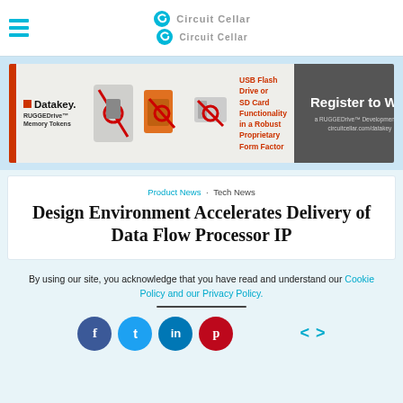Circuit Cellar
[Figure (illustration): Datakey RUGGEDdrive Memory Tokens advertisement banner showing USB flash drive and SD card form factor devices with Register to Win call to action]
Product News · Tech News
Design Environment Accelerates Delivery of Data Flow Processor IP
By using our site, you acknowledge that you have read and understand our Cookie Policy and our Privacy Policy.
[Figure (other): Social sharing buttons: Facebook, Twitter, LinkedIn, Pinterest with navigation arrows]